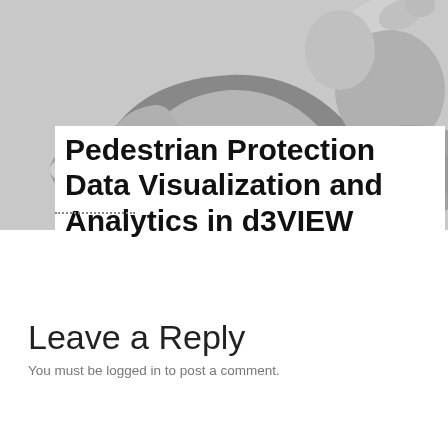[Figure (illustration): Grayscale illustration showing a car (left half) and a pedestrian/person being hit or near a vehicle (right half), cropped at top of page]
Pedestrian Protection Data Visualization and Analytics in d3VIEW
Leave a Reply
You must be logged in to post a comment.